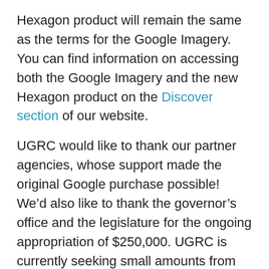Hexagon product will remain the same as the terms for the Google Imagery. You can find information on accessing both the Google Imagery and the new Hexagon product on the Discover section of our website.
UGRC would like to thank our partner agencies, whose support made the original Google purchase possible! We’d also like to thank the governor’s office and the legislature for the ongoing appropriation of $250,000. UGRC is currently seeking small amounts from many agencies to cover our remaining expenses.
The Hexagon high resolution aerial photography will continue the Google Imagery’s work of providing a valuable, detailed, border-to-border view of Utah’s landscape that is expected to improve the quality of